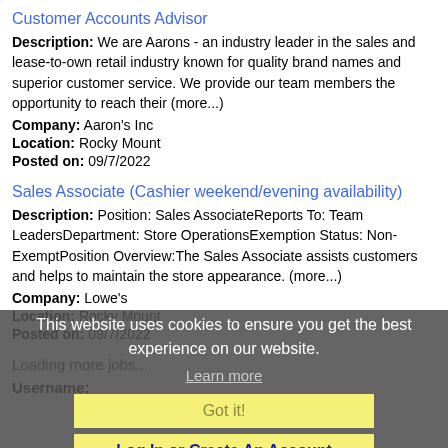Customer Accounts Advisor
Description: We are Aarons - an industry leader in the sales and lease-to-own retail industry known for quality brand names and superior customer service. We provide our team members the opportunity to reach their (more...)
Company: Aaron's Inc
Location: Rocky Mount
Posted on: 09/7/2022
Sales Associate (Cashier weekend/evening availability)
Description: Position: Sales AssociateReports To: Team LeadersDepartment: Store OperationsExemption Status: Non-ExemptPosition Overview:The Sales Associate assists customers and helps to maintain the store appearance. (more...)
Company: Lowe's
Location: Rocky Mount
Posted on: 09/7/2022
Loading more jobs...
This website uses cookies to ensure you get the best experience on our website.
Learn more
Got it!
Log In or Create An Account
Username: